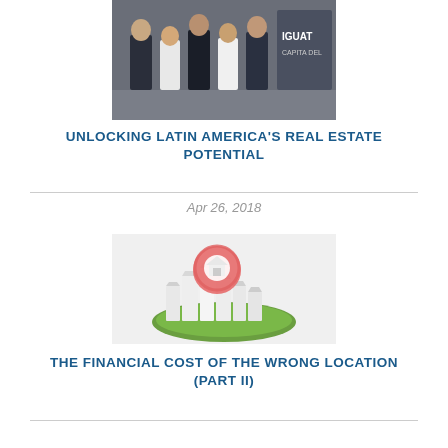[Figure (photo): Group of people standing together at an event, with a sign partially visible showing 'IGUAT' in the background]
UNLOCKING LATIN AMERICA'S REAL ESTATE POTENTIAL
Apr 26, 2018
[Figure (illustration): 3D illustration of a map location pin marker (red/pink) with a house icon, placed above a miniature city skyline on a small circular grass patch]
THE FINANCIAL COST OF THE WRONG LOCATION (PART II)